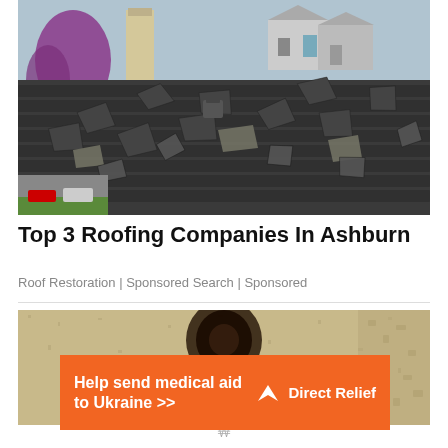[Figure (photo): Damaged roof with broken and displaced shingles, suburban neighborhood visible in the background with trees and houses]
Top 3 Roofing Companies In Ashburn
Roof Restoration | Sponsored Search | Sponsored
[Figure (photo): Advertisement banner: sandy/earthy background with a dark round object. Orange banner reads 'Help send medical aid to Ukraine >>' with Direct Relief logo]
Help send medical aid to Ukraine >> Direct Relief